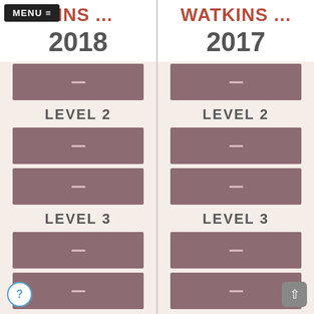MENU ≡
WATKINS ... 2018
WATKINS ... 2017
LEVEL 2
LEVEL 2
LEVEL 3
LEVEL 3